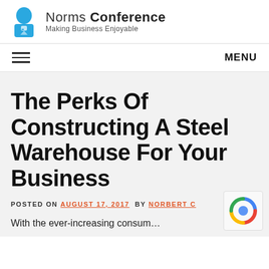Norms Conference – Making Business Enjoyable
The Perks Of Constructing A Steel Warehouse For Your Business
POSTED ON AUGUST 17, 2017 BY NORBERT C
With the ever-increasing consum...